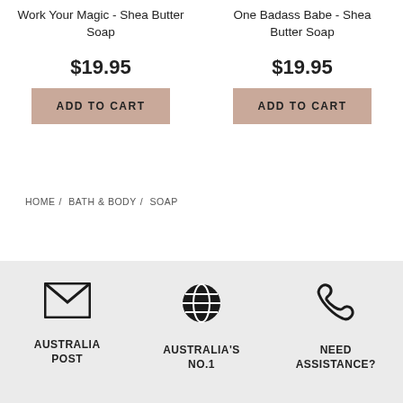Work Your Magic - Shea Butter Soap
$19.95
ADD TO CART
One Badass Babe - Shea Butter Soap
$19.95
ADD TO CART
HOME / BATH & BODY / SOAP
[Figure (infographic): Three icons in footer: envelope (mail), globe (Australia's No.1), phone (Need Assistance?)]
AUSTRALIA POST
AUSTRALIA'S NO.1
NEED ASSISTANCE?